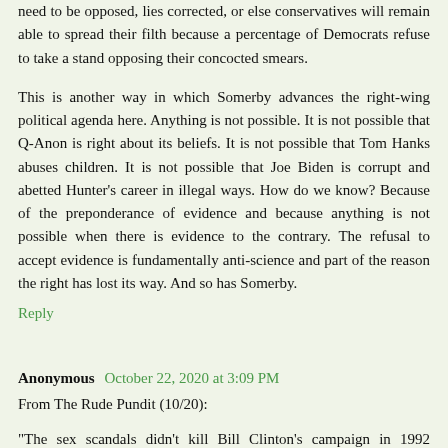need to be opposed, lies corrected, or else conservatives will remain able to spread their filth because a percentage of Democrats refuse to take a stand opposing their concocted smears.
This is another way in which Somerby advances the right-wing political agenda here. Anything is not possible. It is not possible that Q-Anon is right about its beliefs. It is not possible that Tom Hanks abuses children. It is not possible that Joe Biden is corrupt and abetted Hunter's career in illegal ways. How do we know? Because of the preponderance of evidence and because anything is not possible when there is evidence to the contrary. The refusal to accept evidence is fundamentally anti-science and part of the reason the right has lost its way. And so has Somerby.
Reply
Anonymous October 22, 2020 at 3:09 PM
From The Rude Pundit (10/20):
"The sex scandals didn't kill Bill Clinton's campaign in 1992 because the country was tumbling into recession at the end of